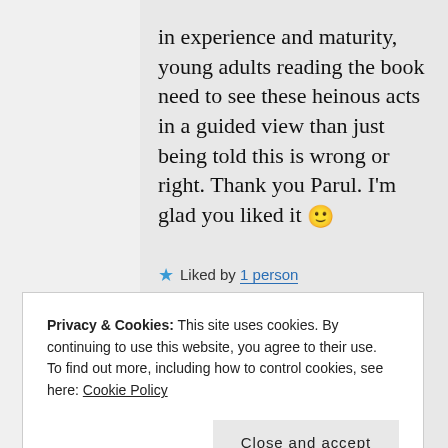in experience and maturity, young adults reading the book need to see these heinous acts in a guided view than just being told this is wrong or right. Thank you Parul. I'm glad you liked it 🙂
★ Liked by 1 person
Privacy & Cookies: This site uses cookies. By continuing to use this website, you agree to their use. To find out more, including how to control cookies, see here: Cookie Policy
Close and accept